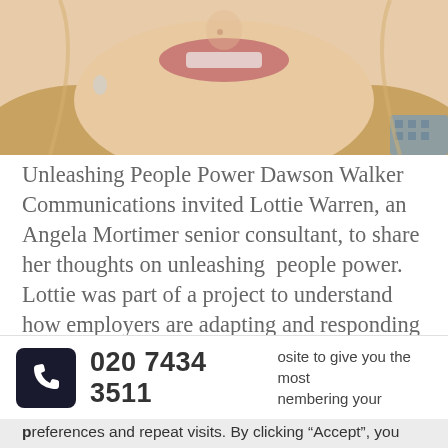[Figure (photo): Close-up photo of a smiling blonde woman, cropped to show lower face and hair, with a patterned top visible in the corner. Background is a warm beige/skin tone.]
Unleashing People Power Dawson Walker Communications invited Lottie Warren, an Angela Mortimer senior consultant, to share her thoughts on unleashing people power. Lottie was part of a project to understand how employers are adapting and responding to the challenges of lock-down. Find out
020 7434 3511
osite to give you the most nembering your preferences and repeat visits. By clicking “Accept”, you consent to the use of ALL the cookies.
Cookie settings
ACCEPT